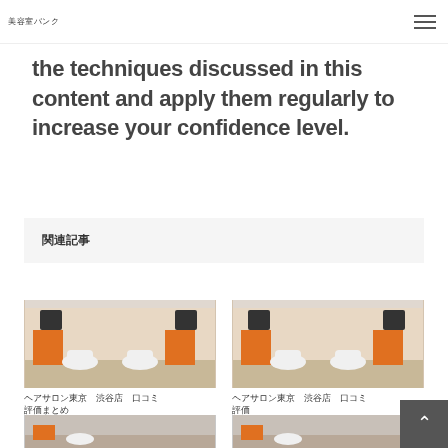美容室バンク
the techniques discussed in this content and apply them regularly to increase your confidence level.
関連記事
[Figure (photo): Hair salon interior with orange and white styling chairs and stations]
ヘアサロン東京　渋谷店　口コミ
[Figure (photo): Hair salon interior with orange and white styling chairs and stations]
ヘアサロン東京　渋谷店　口コミ
[Figure (photo): Hair salon interior partial view]
[Figure (photo): Hair salon interior partial view]